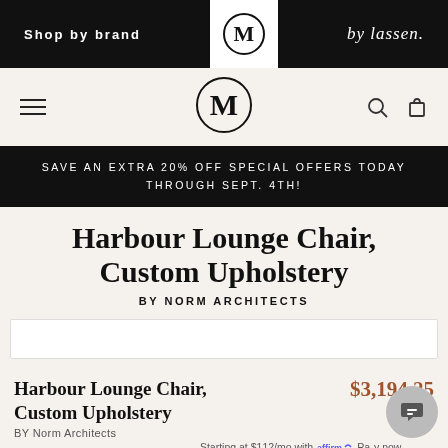Shop by brand
[Figure (logo): M logo in circle on white background]
[Figure (logo): by lassen script logo in white on black]
[Figure (logo): M logo in circle, large, in navigation bar]
SAVE AN EXTRA 20% OFF SPECIAL OFFERS TODAY THROUGH SEPT. 4TH!
Harbour Lounge Chair, Custom Upholstery
BY NORM ARCHITECTS
Harbour Lounge Chair, Custom Upholstery
BY Norm Architects
$3,194.25
Starting at $112/mo with Affirm. Pay now